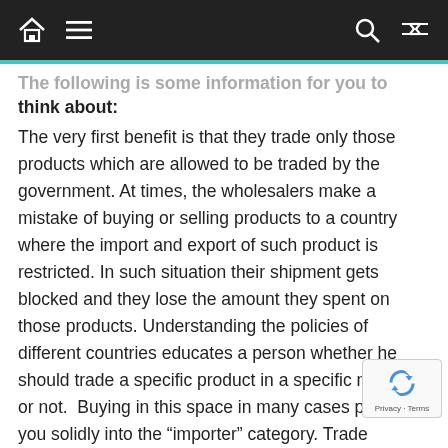Navigation bar with home, menu, search, and shuffle icons
The following is some information for you to think about:
The very first benefit is that they trade only those products which are allowed to be traded by the government. At times, the wholesalers make a mistake of buying or selling products to a country where the import and export of such product is restricted. In such situation their shipment gets blocked and they lose the amount they spent on those products. Understanding the policies of different countries educates a person whether he should trade a specific product in a specific market or not.  Buying in this space in many cases places you solidly into the “importer” category. Trade regulations will apply in ways that they effectiv don’t for the individual consumer, meaning